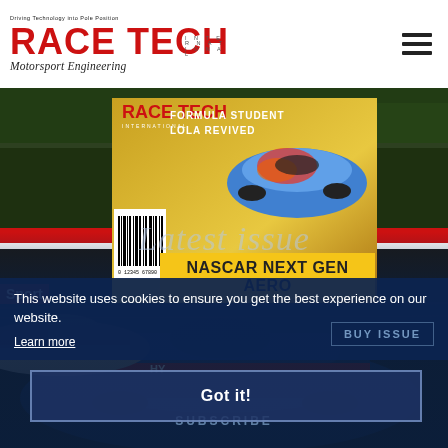[Figure (logo): Race Tech International logo with red bold text RACE TECH, subtitle Motorsport Engineering in italic, and small text Driving Technology into Pole Position above]
[Figure (photo): Background photo of motorsport racing cars on track, dark blue tones, with a magazine cover overlay showing NASCAR Next Gen Aero issue, Formula Student and Lola Revived headlines]
Latest issue
This website uses cookies to ensure you get the best experience on our website.
Learn more
BUY ISSUE
Got it!
SUBSCRIBE